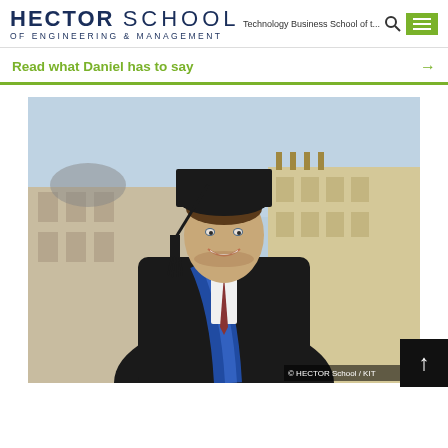HECTOR SCHOOL OF ENGINEERING & MANAGEMENT — Technology Business School of t...
Read what Daniel has to say →
[Figure (photo): A male graduate wearing a black academic gown with blue sash, mortarboard cap with tassel, smiling, posed in front of European-style buildings. Photo credit: © HECTOR School / KIT]